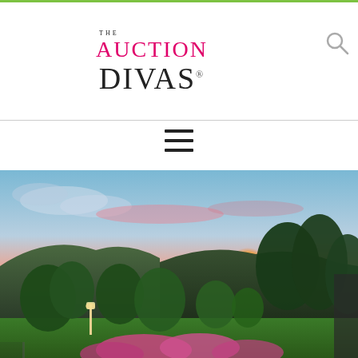green top bar
[Figure (logo): The Auction Divas logo with pink/magenta 'AUCTION' text and dark 'DIVAS' text with registered trademark symbol]
[Figure (other): Search magnifying glass icon in top right corner]
[Figure (other): Hamburger menu icon (three horizontal lines) centered below the navigation divider]
[Figure (photo): Scenic outdoor sunset photo showing mountains in the background with a colorful sky (pink, orange, blue), green trees and flowering pink plants in the foreground, and a small lantern post visible on the left side]